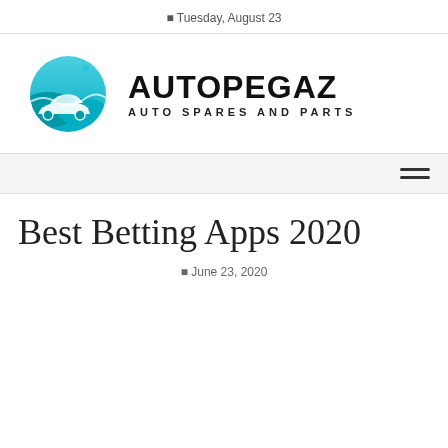Tuesday, August 23
[Figure (logo): Autopegaz Auto Spares and Parts logo with teal car silhouette in circle and bold text AUTOPEGAZ / AUTO SPARES AND PARTS]
Best Betting Apps 2020
June 23, 2020